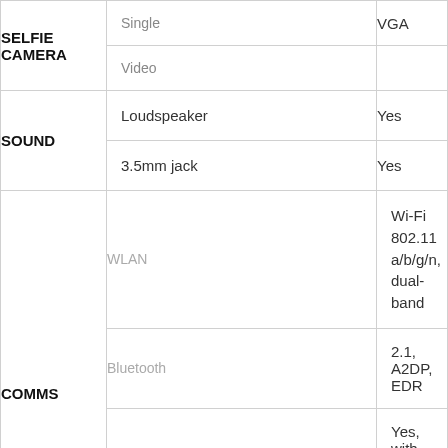| Category | Feature | Value |
| --- | --- | --- |
| SELFIE CAMERA | Single | VGA |
|  | Video |  |
| SOUND | Loudspeaker | Yes |
|  | 3.5mm jack | Yes |
| COMMS | WLAN | Wi-Fi 802.11 a/b/g/n, dual-band |
|  | Bluetooth | 2.1, A2DP, EDR |
|  | GPS | Yes, with A-GPS |
|  | Radio | No |
|  | USB | 2.0 |
|  | Sensors | Accelerometer, gyro, |